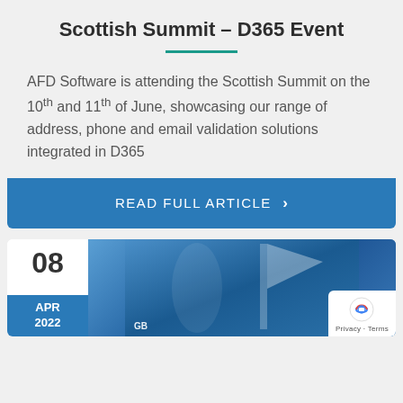Scottish Summit – D365 Event
AFD Software is attending the Scottish Summit on the 10th and 11th of June, showcasing our range of address, phone and email validation solutions integrated in D365
READ FULL ARTICLE  >
[Figure (photo): Sailing photo showing a sailor in GB team gear on blue water, with a sail visible on the right. Date badge shows 08 APR 2022.]